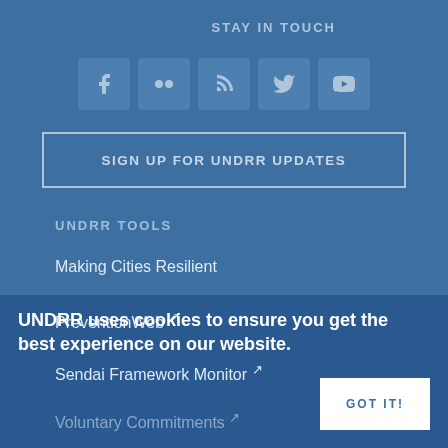STAY IN TOUCH
[Figure (illustration): Row of five social media icons: Facebook, Flickr, RSS, Twitter, YouTube — shown as light blue squares with symbols]
SIGN UP FOR UNDRR UPDATES
UNDRR TOOLS
Making Cities Resilient
PreventionWeb ↗
Sendai Framework Monitor ↗
Voluntary Commitments ↗
UNDRR uses cookies to ensure you get the best experience on our website.
GOT IT!